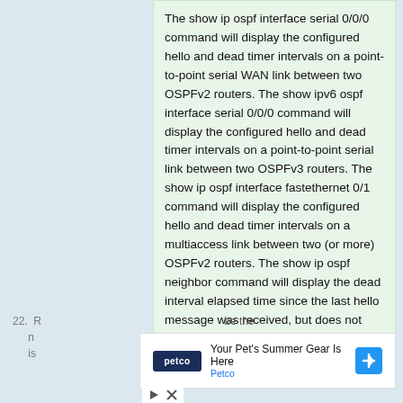The show ip ospf interface serial 0/0/0 command will display the configured hello and dead timer intervals on a point-to-point serial WAN link between two OSPFv2 routers. The show ipv6 ospf interface serial 0/0/0 command will display the configured hello and dead timer intervals on a point-to-point serial link between two OSPFv3 routers. The show ip ospf interface fastethernet 0/1 command will display the configured hello and dead timer intervals on a multiaccess link between two (or more) OSPFv2 routers. The show ip ospf neighbor command will display the dead interval elapsed time since the last hello message was received, but does not show the configured value of the timer.
22. R... be the n... gy that is...
[Figure (screenshot): Advertisement overlay: Petco - Your Pet's Summer Gear Is Here, with blue navigation icon, play and close controls below]